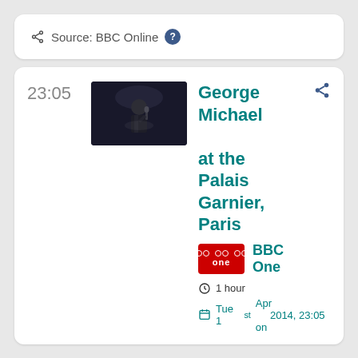Source: BBC Online ?
23:05
[Figure (photo): A performer on stage singing into a microphone, dressed in a dark suit, in a dark concert setting.]
George Michael at the Palais Garnier, Paris
BBC One
1 hour
Tue 1st Apr 2014, 23:05 on